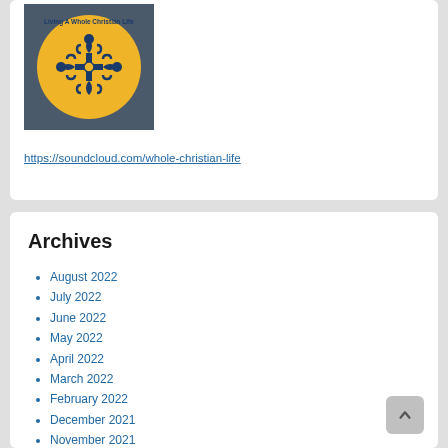[Figure (logo): Circular yellow and dark blue logo for 'Living A Whole Christian Life' with crossed ornate key/anchor symbols in dark blue on a yellow circle, set against a dark blue-grey square background. Text at top reads 'Living A Whole Christian Life'.]
https://soundcloud.com/whole-christian-life
Archives
August 2022
July 2022
June 2022
May 2022
April 2022
March 2022
February 2022
December 2021
November 2021
October 2021